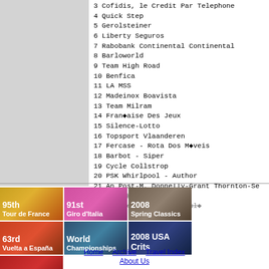3 Cofidis, le Credit Par Telephone
4 Quick Step
5 Gerolsteiner
6 Liberty Seguros
7 Rabobank Continental Continental
8 Barloworld
9 Team High Road
10 Benfica
11 LA MSS
12 Madeinox Boavista
13 Team Milram
14 Française Des Jeux
15 Silence-Lotto
16 Topsport Vlaanderen
17 Fercase - Rota Dos Móveis
18 Barbot - Siper
19 Cycle Collstrop
20 PSK Whirlpool - Author
21 An Post-M. Donnelly-Grant Thornton-Se
22 Mitsubishi-Jartazi
23 Centro Cilismo de Loulé
[Figure (screenshot): Navigation banners: 95th Tour de France, 91st Giro d'Italia, 2008 Spring Classics, 63rd Vuelta a España, World Championships, 2008 USA Crits, 2008 Olympics]
Home   Archive   Travel Index   About Us